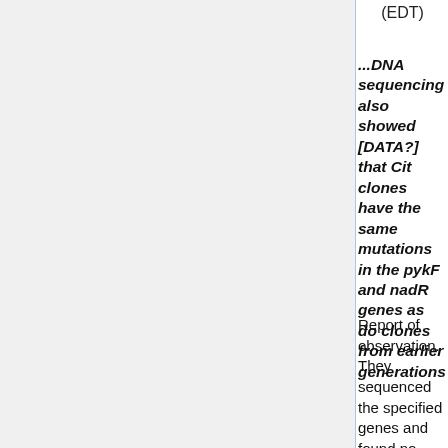(EDT)
...DNA sequencing also showed [DATA?] that Cit clones have the same mutations in the pykF and nadR genes as do clones from earlier generations
Report of observation. They sequenced the specified genes and found no difference in base-by-base comparisons. There is no need in this paper to print all sequences side by side as they're the same. The words, "no difference" transmits the same